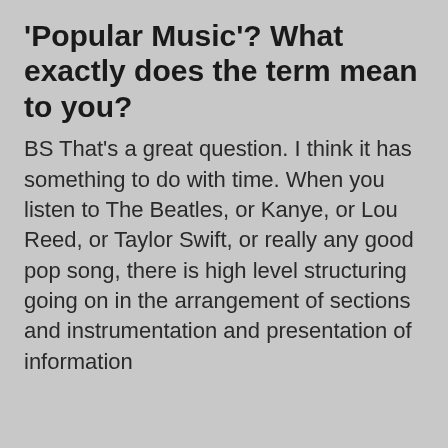'Popular Music'? What exactly does the term mean to you?
BS That's a great question. I think it has something to do with time. When you listen to The Beatles, or Kanye, or Lou Reed, or Taylor Swift, or really any good pop song, there is high level structuring going on in the arrangement of sections and instrumentation and presentation of information